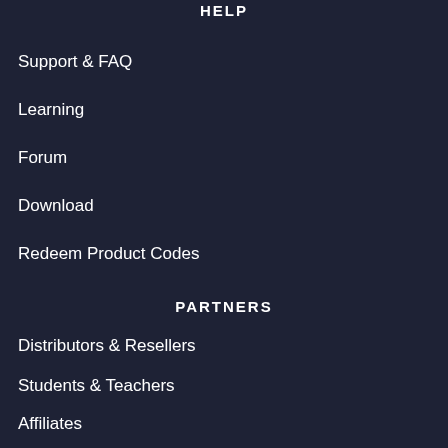HELP
Support & FAQ
Learning
Forum
Download
Redeem Product Codes
PARTNERS
Distributors & Resellers
Students & Teachers
Affiliates
FL Studio Trainers
Plugin Developers